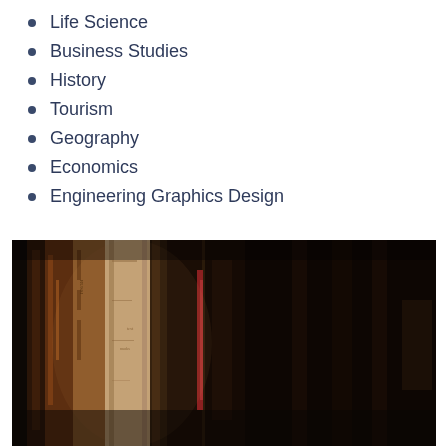Life Science
Business Studies
History
Tourism
Geography
Economics
Engineering Graphics Design
[Figure (photo): Close-up photograph of old antique books standing on a shelf, showing worn spines and aged covers in warm brown tones]